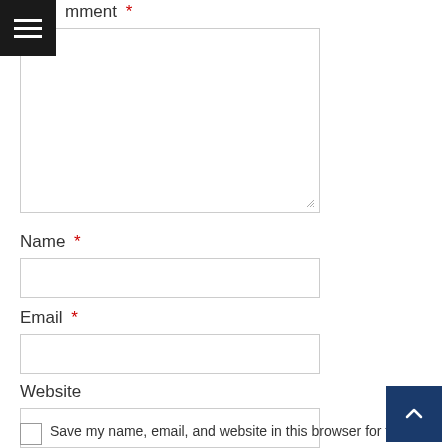Comment *
Name *
Email *
Website
Save my name, email, and website in this browser for the next